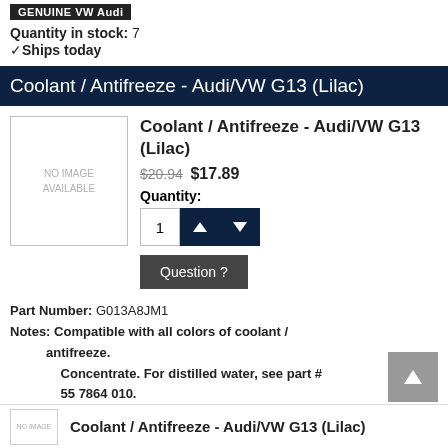[Figure (logo): GENUINE VW Audi badge/logo on dark background]
Quantity in stock: 7
✓Ships today
Coolant / Antifreeze - Audi/VW G13 (Lilac)
Coolant / Antifreeze - Audi/VW G13 (Lilac)
$20.94 $17.89
Quantity:
Question ?
Part Number: G013A8JM1
Notes: Compatible with all colors of coolant / antifreeze.
       Concentrate. For distilled water, see part # 55 7864 010.
Part fits: 2016 Audi S8 Base Sedan 4.0L V8
Quantity needed: 1
Manufacturer: HEPU
[Figure (logo): HEPU manufacturer logo with orange underline]
Quantity in stock: OUT OF STOCK
Coolant / Antifreeze - Audi/VW G13 (Lilac)